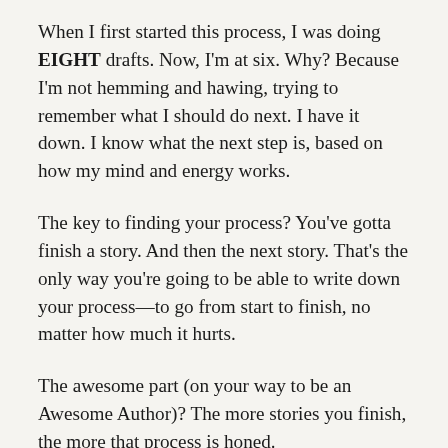When I first started this process, I was doing EIGHT drafts. Now, I'm at six. Why? Because I'm not hemming and hawing, trying to remember what I should do next. I have it down. I know what the next step is, based on how my mind and energy works.
The key to finding your process? You've gotta finish a story. And then the next story. That's the only way you're going to be able to write down your process—to go from start to finish, no matter how much it hurts.
The awesome part (on your way to be an Awesome Author)? The more stories you finish, the more that process is honed.